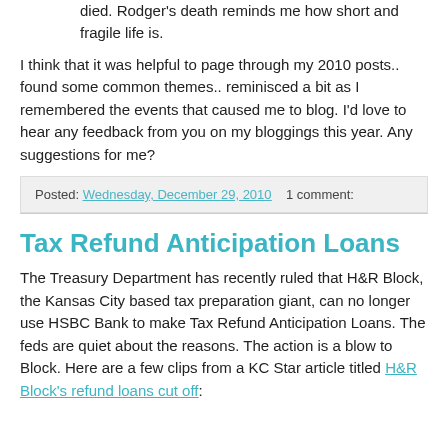died. Rodger's death reminds me how short and fragile life is.
I think that it was helpful to page through my 2010 posts.. found some common themes.. reminisced a bit as I remembered the events that caused me to blog. I'd love to hear any feedback from you on my bloggings this year. Any suggestions for me?
Posted: Wednesday, December 29, 2010    1 comment:
Tax Refund Anticipation Loans
The Treasury Department has recently ruled that H&R Block, the Kansas City based tax preparation giant, can no longer use HSBC Bank to make Tax Refund Anticipation Loans. The feds are quiet about the reasons. The action is a blow to Block. Here are a few clips from a KC Star article titled H&R Block's refund loans cut off: